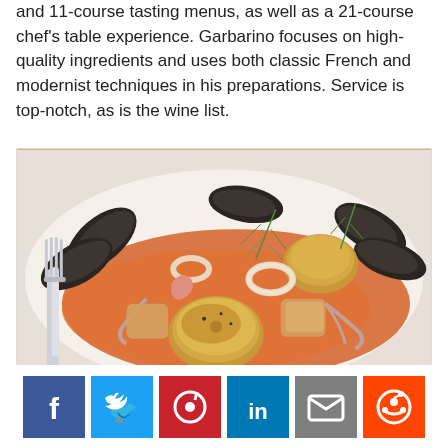and 11-course tasting menus, as well as a 21-course chef's table experience. Garbarino focuses on high-quality ingredients and uses both classic French and modernist techniques in his preparations. Service is top-notch, as is the wine list.
[Figure (photo): A plate of seafood including seared scallops, mussels, calamari rings, shrimp in an orange/tomato broth sauce, garnished with dill fronds, with a silver fork on the left side of the plate.]
[Figure (infographic): Row of social media share buttons: Facebook (blue), Twitter (light blue), Pinterest (red), LinkedIn (blue), Email (grey), Reddit (orange-red)]